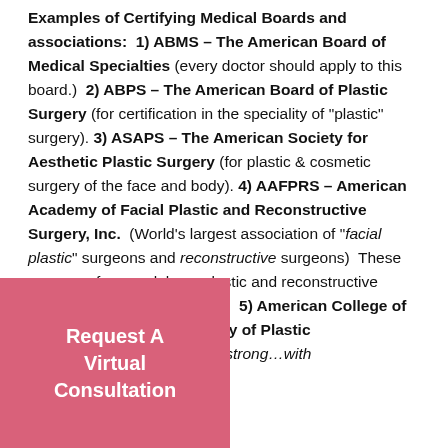Examples of Certifying Medical Boards and associations: 1) ABMS – The American Board of Medical Specialties (every doctor should apply to this board.) 2) ABPS – The American Board of Plastic Surgery (for certification in the speciality of "plastic" surgery). 3) ASAPS – The American Society for Aesthetic Plastic Surgery (for plastic & cosmetic surgery of the face and body). 4) AAFPRS – American Academy of Facial Plastic and Reconstructive Surgery, Inc. (World's largest association of "facial plastic" surgeons and reconstructive surgeons) These surgeons focus solely on plastic and reconstructive surgery of the ... 5) American College of ... American Society of Plastic ... ds of members strong…with
[Figure (other): Pink button overlay with text 'Request A Virtual Consultation']